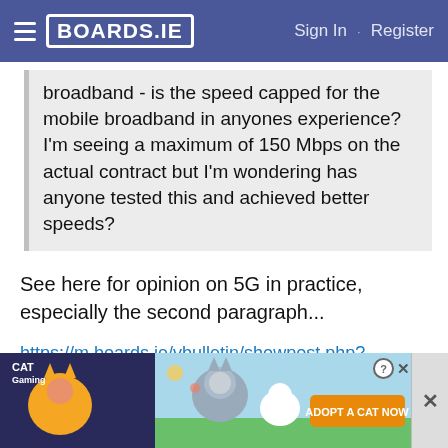BOARDS.IE  Sign In  ·  Register
broadband - is the speed capped for the mobile broadband in anyones experience? I'm seeing a maximum of 150 Mbps on the actual contract but I'm wondering has anyone tested this and achieved better speeds?
See here for opinion on 5G in practice, especially the second paragraph...
https://m.boards.ie/vbulletin/showpost.php?p=117134350&postcount=92
4G+ / LTE-A is capable of 300Mbps and higher